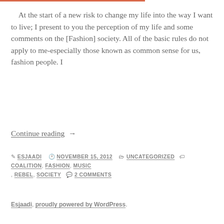At the start of a new risk to change my life into the way I want to live; I present to you the perception of my life and some comments on the [Fashion] society. All of the basic rules do not apply to me-especially those known as common sense for us, fashion people. I
Continue reading →
By ESJAADI  NOVEMBER 15, 2012  UNCATEGORIZED  COALITION, FASHION, MUSIC, REBEL, SOCIETY  2 COMMENTS
Esjaadi, proudly powered by WordPress.